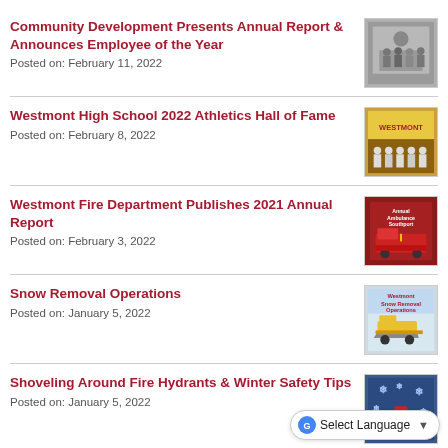Community Development Presents Annual Report & Announces Employee of the Year
Posted on: February 11, 2022
[Figure (photo): Group of people posing indoors]
Westmont High School 2022 Athletics Hall of Fame
Posted on: February 8, 2022
[Figure (photo): Group photo at Westmont school event]
Westmont Fire Department Publishes 2021 Annual Report
Posted on: February 3, 2022
[Figure (photo): Westmont Annual Ambulance Report cover with fire truck]
Snow Removal Operations
Posted on: January 5, 2022
[Figure (photo): Westmont Snow Removal Operations graphic]
Shoveling Around Fire Hydrants & Winter Safety Tips
Posted on: January 5, 2022
[Figure (photo): Winter safety tips graphic with snowflakes]